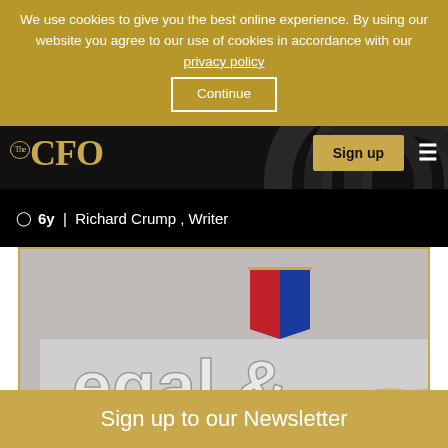We use cookies to give you the best online experience. By using our website you agree to our use of cookies in accordance with our privacy policy Continue
[Figure (logo): The CFO logo in gold on black navigation bar]
Sign up
6y | Richard Crump , Writer
[Figure (photo): Legal & General company sign/logo with silver 3D letters and red/blue umbrella logo on grey background]
Company News
Sign up to our Newsletter